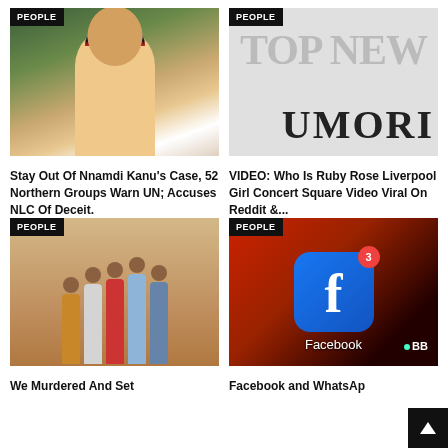[Figure (photo): Man wearing a red, white and black traditional hat, with glasses and beard, green background]
PEOPLE
Stay Out Of Nnamdi Kanu's Case, 52 Northern Groups Warn UN; Accuses NLC Of Deceit.
[Figure (photo): Grayscale image showing 'TOP NEWS' text and 'UMORI' in large bold letters]
PEOPLE
VIDEO: Who Is Ruby Rose Liverpool Girl Concert Square Video Viral On Reddit &...
[Figure (photo): Group of men standing together in traditional African attire against a wall]
PEOPLE
We Murdered And Set
[Figure (photo): Facebook app icon on a smartphone screen with notification badge showing 3, dark red background]
PEOPLE
Facebook and WhatsAp